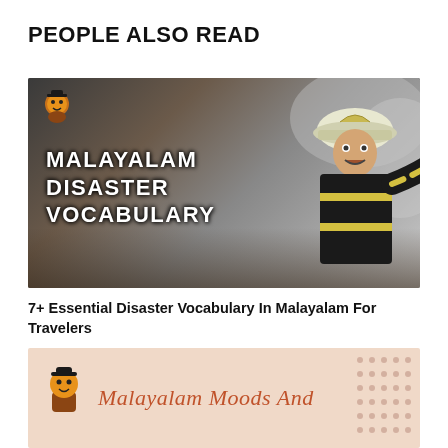PEOPLE ALSO READ
[Figure (photo): Blog card image: firefighter in yellow-striped gear pointing, with text overlay 'MALAYALAM DISASTER VOCABULARY' and a small mascot icon in top left corner. Dark smoky background.]
7+ Essential Disaster Vocabulary In Malayalam For Travelers
August 17, 2022
[Figure (photo): Blog card image: peach/salmon colored banner with a small mascot icon on the left and stylized text 'Malayalam Moods And' in brownish-red italic serif font. Dotted pattern on the right edge.]